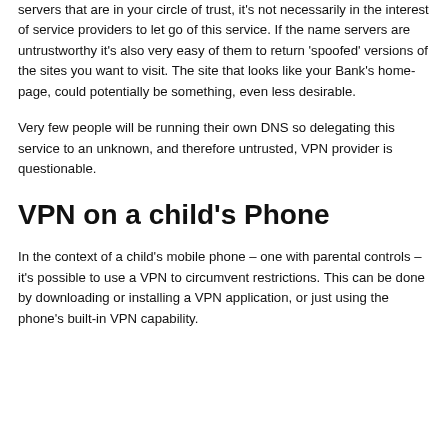servers that are in your circle of trust, it's not necessarily in the interest of service providers to let go of this service. If the name servers are untrustworthy it's also very easy of them to return 'spoofed' versions of the sites you want to visit. The site that looks like your Bank's home-page, could potentially be something, even less desirable.
Very few people will be running their own DNS so delegating this service to an unknown, and therefore untrusted, VPN provider is questionable.
VPN on a child's Phone
In the context of a child's mobile phone – one with parental controls – it's possible to use a VPN to circumvent restrictions. This can be done by downloading or installing a VPN application, or just using the phone's built-in VPN capability.